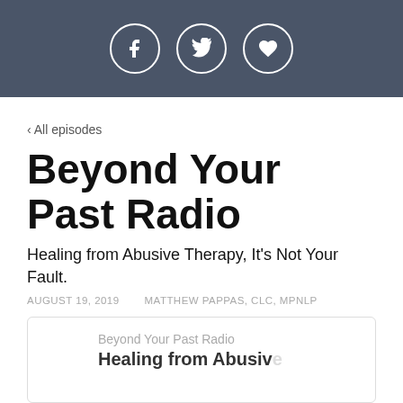[Figure (other): Dark header bar with three social media icon buttons (Facebook, Twitter, heart/podcast) as white circle outlines]
‹ All episodes
Beyond Your Past Radio
Healing from Abusive Therapy, It's Not Your Fault.
AUGUST 19, 2019    MATTHEW PAPPAS, CLC, MPNLP
[Figure (screenshot): Podcast player card showing 'Beyond Your Past Radio' label and bold truncated episode title 'Healing from Abusive']